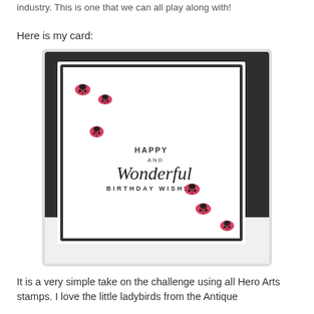industry. This is one that we can all play along with!
Here is my card:
[Figure (photo): A handmade birthday card with a white panel on a dark background. The card features small pink and black ladybird stamps arranged diagonally across the card, with the text 'HAPPY AND Wonderful BIRTHDAY WISHES' stamped in the center in a mix of print and script fonts.]
It is a very simple take on the challenge using all Hero Arts stamps. I love the little ladybirds from the Antique